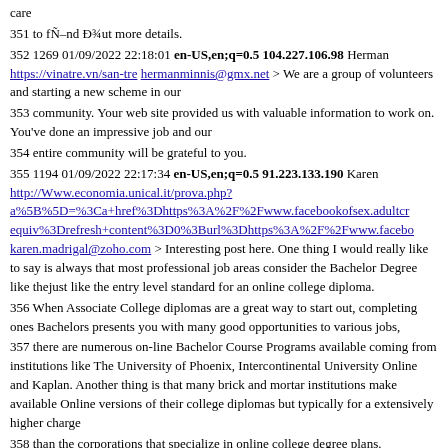care
351 to fÑ–nd Ð¾ut more details.
352 1269 01/09/2022 22:18:01 en-US,en;q=0.5 104.227.106.98 Herman https://vinatre.vn/san-tre hermanminnis@gmx.net > We are a group of volunteers and starting a new scheme in our
353 community. Your web site provided us with valuable information to work on. You've done an impressive job and our
354 entire community will be grateful to you.
355 1194 01/09/2022 22:17:34 en-US,en;q=0.5 91.223.133.190 Karen http://Www.economia.unical.it/prova.php?a%5B%5D=%3Ca+href%3Dhttps%3A%2F%2Fwww.facebookofsex.adultcr equiv%3Drefresh+content%3D0%3Burl%3Dhttps%3A%2F%2Fwww.facebo karen.madrigal@zoho.com > Interesting post here. One thing I would really like to say is always that most professional job areas consider the Bachelor Degree like thejust like the entry level standard for an online college diploma.
356 When Associate College diplomas are a great way to start out, completing ones Bachelors presents you with many good opportunities to various jobs,
357 there are numerous on-line Bachelor Course Programs available coming from institutions like The University of Phoenix, Intercontinental University Online and Kaplan. Another thing is that many brick and mortar institutions make available Online versions of their college diplomas but typically for a extensively higher charge
358 than the corporations that specialize in online college degree plans.
359 1185 01/09/2022 22:17:33 en-US,en;q=0.5 23.250.89.153 Juliane https://blog.kingsgate.edu.my/top-10-international-schools-near-me julianecarr@zoho.com > Valuable info. Lucky me I discovered your site